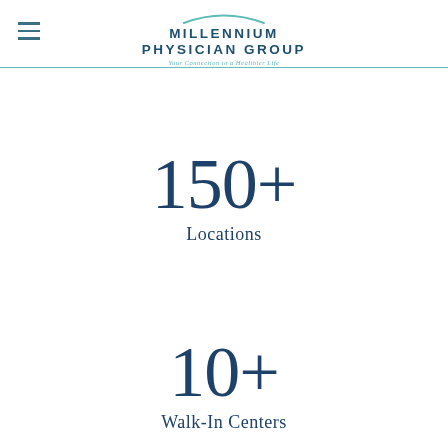Millennium Physician Group — Your Connection to a Healthier Life
150+ Locations
10+ Walk-In Centers